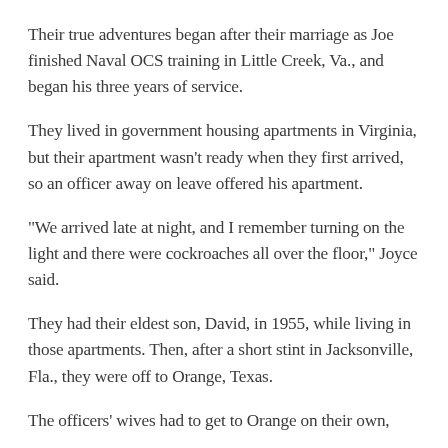Their true adventures began after their marriage as Joe finished Naval OCS training in Little Creek, Va., and began his three years of service.
They lived in government housing apartments in Virginia, but their apartment wasn't ready when they first arrived, so an officer away on leave offered his apartment.
"We arrived late at night, and I remember turning on the light and there were cockroaches all over the floor," Joyce said.
They had their eldest son, David, in 1955, while living in those apartments. Then, after a short stint in Jacksonville, Fla., they were off to Orange, Texas.
The officers' wives had to get to Orange on their own,